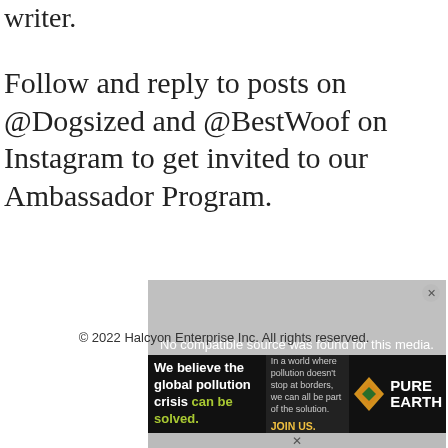writer.
Follow and reply to posts on @Dogsized and @BestWoof on Instagram to get invited to our Ambassador Program.
[Figure (screenshot): Video player overlay showing 'No compatible source was found for this media.' message on a grey background with a close button.]
© 2022 Halcyon Enterprise Inc. All rights reserved.
[Figure (screenshot): Pure Earth advertisement banner: 'We believe the global pollution crisis can be solved.' with text 'In a world where pollution doesn't stop at borders, we can all be part of the solution.' and 'JOIN US.' alongside Pure Earth logo.]